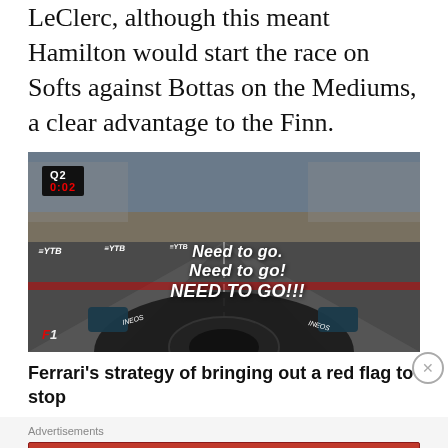LeClerc, although this meant Hamilton would start the race on Softs against Bottas on the Mediums, a clear advantage to the Finn.
[Figure (screenshot): Onboard camera view from a Formula 1 car on track during Q2 qualifying session (0:02 shown). Text overlay reads 'Need to go. Need to go! NEED TO GO!!!' F1 logo visible at bottom left. YTB branding on track barriers.]
Ferrari's strategy of bringing out a red flag to stop
Advertisements
[Figure (infographic): Longreads advertisement banner in red. Logo shows 'L' in circle and text 'LONGREADS'. Tagline: 'The best stories on the web — ours, and everyone else's.']